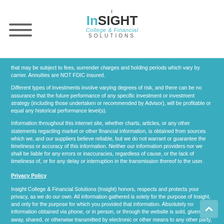Insight College & Financial Solutions
that may be subject to fees, surrender charges and holding periods which vary by carrier. Annuities are NOT FDIC insured.
Different types of investments involve varying degrees of risk, and there can be no assurance that the future performance of any specific investment or investment strategy (including those undertaken or recommended by Advisor), will be profitable or equal any historical performance level(s).
Information throughout this internet site, whether charts, articles, or any other statements regarding market or other financial information, is obtained from sources which we, and our suppliers believe reliable, but we do not warrant or guarantee the timeliness or accuracy of this information. Neither our information providers nor we shall be liable for any errors or inaccuracies, regardless of cause, or the lack of timeliness of, or for any delay or interruption in the transmission thereof to the user.
Privacy Policy
Insight College & Financial Solutions (Insight) honors, respects and protects your privacy, as we do our own. All information gathered is solely for the purpose of Insight, and only for the purpose for which you provided that information. Absolutely no information obtained via phone, or in person, or through the website is sold, given away, shared, or otherwise transmitted by electronic or other means to any other party, other than for the purpose for which you provided that information.